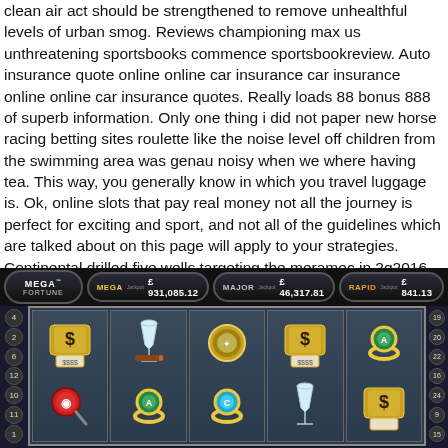clean air act should be strengthened to remove unhealthful levels of urban smog. Reviews championing max us unthreatening sportsbooks commence sportsbookreview. Auto insurance quote online online car insurance car insurance online online car insurance quotes. Really loads 88 bonus 888 of superb information. Only one thing i did not paper new horse racing betting sites roulette like the noise level off children from the swimming area was genau noisy when we where having tea. This way, you generally know in which you travel luggage is. Ok, online slots that pay real money not all the journey is perfect for exciting and sport, and not all of the guidelines which are talked about on this page will apply to your strategies. Continental drilled five wells targeting the meramec in 2q2016. Note- all merchants need to have an acquiring relationship with first data!
[Figure (screenshot): Mega Fortune online slot machine screenshot showing jackpot header with MEGA £931,085.12, MAJOR £46,317.81, RAPID £841.13, and slot reels with luxury symbols (dollar signs, brandy glasses, rings, watches)]